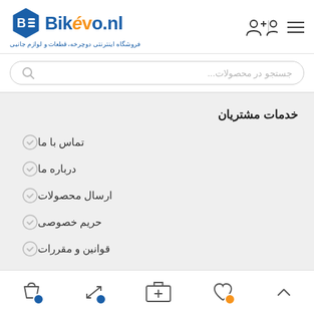[Figure (logo): Bikevo.nl hexagonal logo with bicycle icon in blue and orange]
Bikevo.nl — فروشگاه اینترنتی دوچرخه، قطعات و لوازم جانبی
جستجو در محصولات...
خدمات مشتریان
تماس با ما
درباره ما
ارسال محصولات
حریم خصوصی
قوانین و مقررات
ارتباط با ما
Bottom navigation bar with cart, compare, add-to-cart, wishlist, and scroll-up icons